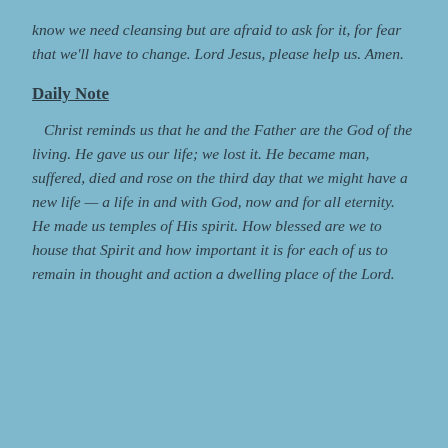know we need cleansing but are afraid to ask for it, for fear that we'll have to change. Lord Jesus, please help us. Amen.
Daily Note
Christ reminds us that he and the Father are the God of the living. He gave us our life; we lost it. He became man, suffered, died and rose on the third day that we might have a new life — a life in and with God, now and for all eternity. He made us temples of His spirit. How blessed are we to house that Spirit and how important it is for each of us to remain in thought and action a dwelling place of the Lord.